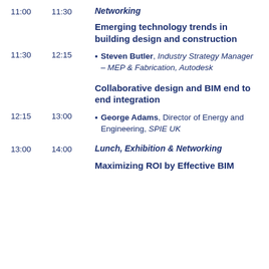11:00  11:30  Networking
Emerging technology trends in building design and construction
11:30  12:15  Steven Butler, Industry Strategy Manager – MEP & Fabrication, Autodesk
Collaborative design and BIM end to end integration
12:15  13:00  George Adams, Director of Energy and Engineering, SPIE UK
13:00  14:00  Lunch, Exhibition & Networking
Maximizing ROI by Effective BIM Implementation